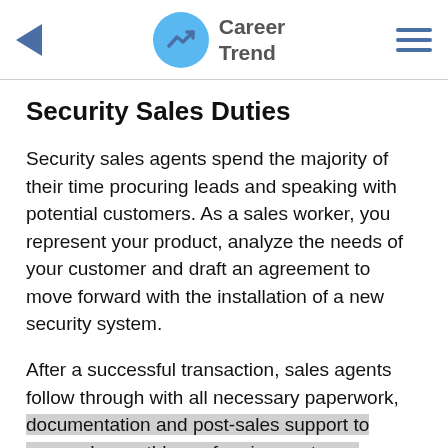Career Trend
Security Sales Duties
Security sales agents spend the majority of their time procuring leads and speaking with potential customers. As a sales worker, you represent your product, analyze the needs of your customer and draft an agreement to move forward with the installation of a new security system.
After a successful transaction, sales agents follow through with all necessary paperwork, documentation and post-sales support to proceed smoothly, performing customer service duties that